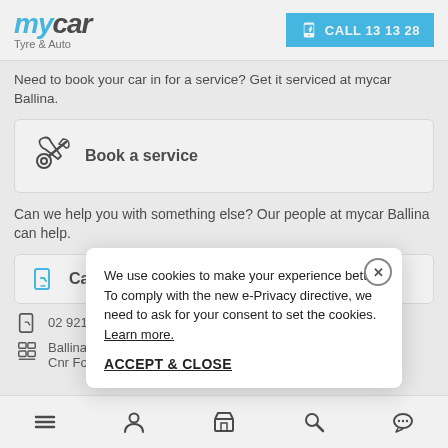[Figure (logo): mycar Tyre & Auto logo in blue italic font]
Need to book your car in for a service? Get it serviced at mycar Ballina.
Book a service
Can we help you with something else? Our people at mycar Ballina can help.
Call C...
02 9212 8...
Ballina Ce... Cnr Fox &...
We use cookies to make your experience better. To comply with the new e-Privacy directive, we need to ask for your consent to set the cookies. Learn more.
ACCEPT & CLOSE